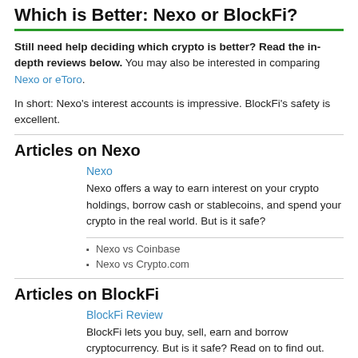Which is Better: Nexo or BlockFi?
Still need help deciding which crypto is better? Read the in-depth reviews below. You may also be interested in comparing Nexo or eToro.
In short: Nexo's interest accounts is impressive. BlockFi's safety is excellent.
Articles on Nexo
Nexo
Nexo offers a way to earn interest on your crypto holdings, borrow cash or stablecoins, and spend your crypto in the real world. But is it safe?
Nexo vs Coinbase
Nexo vs Crypto.com
Articles on BlockFi
BlockFi Review
BlockFi lets you buy, sell, earn and borrow cryptocurrency. But is it safe? Read on to find out.
BlockFi vs Gemini